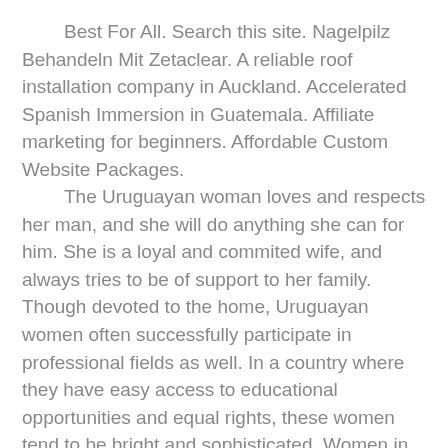Best For All. Search this site. Nagelpilz Behandeln Mit Zetaclear. A reliable roof installation company in Auckland. Accelerated Spanish Immersion in Guatemala. Affiliate marketing for beginners. Affordable Custom Website Packages.
The Uruguayan woman loves and respects her man, and she will do anything she can for him. She is a loyal and commited wife, and always tries to be of support to her family. Though devoted to the home, Uruguayan women often successfully participate in professional fields as well. In a country where they have easy access to educational opportunities and equal rights, these women tend to be bright and sophisticated. Women in Uruguay mostly have European looks with golden tanned skin. They can be blond or brunette but usually have brown eyes. Generally, Uruguayan women take good care of themselves although they dress conservatively and rarely wear bright colors.